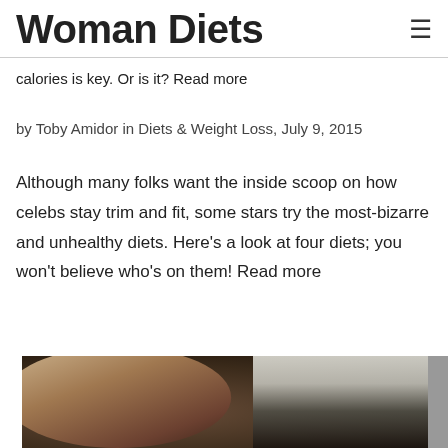Woman Diets
calories is key. Or is it? Read more
by Toby Amidor in Diets & Weight Loss, July 9, 2015
Although many folks want the inside scoop on how celebs stay trim and fit, some stars try the most-bizarre and unhealthy diets. Here’s a look at four diets; you won’t believe who’s on them! Read more
[Figure (photo): Photo of a woman with short brown hair, partially cropped, with a dark restaurant/bar background and what appears to be a menu board on the right side]